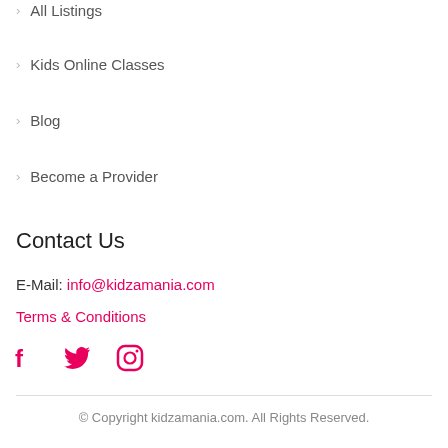All Listings
Kids Online Classes
Blog
Become a Provider
Contact Us
E-Mail: info@kidzamania.com
Terms & Conditions
[Figure (infographic): Social media icons: Facebook, Twitter, Instagram in pink/magenta color]
© Copyright kidzamania.com. All Rights Reserved.